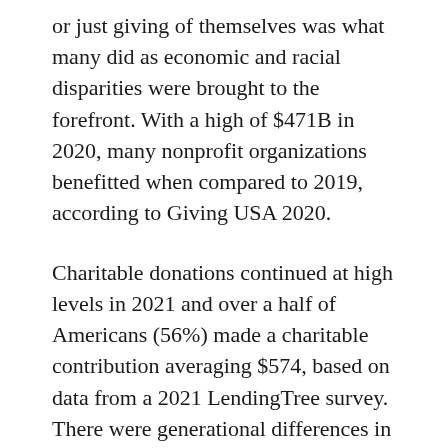or just giving of themselves was what many did as economic and racial disparities were brought to the forefront. With a high of $471B in 2020, many nonprofit organizations benefitted when compared to 2019, according to Giving USA 2020.
Charitable donations continued at high levels in 2021 and over a half of Americans (56%) made a charitable contribution averaging $574, based on data from a 2021 LendingTree survey. There were generational differences in those donations. Millennials, followed by boomers, donated the highest amount on average, $637 and $633, respectively.